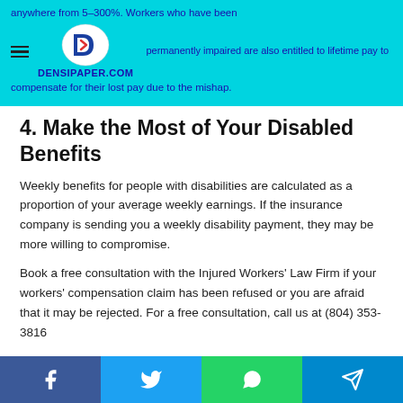anywhere from 5-300%. Workers who have been permanently impaired are also entitled to lifetime pay to compensate for their lost pay due to the mishap.
4. Make the Most of Your Disabled Benefits
Weekly benefits for people with disabilities are calculated as a proportion of your average weekly earnings. If the insurance company is sending you a weekly disability payment, they may be more willing to compromise.
Book a free consultation with the Injured Workers' Law Firm if your workers' compensation claim has been refused or you are afraid that it may be rejected. For a free consultation, call us at (804) 353-3816
Facebook Twitter WhatsApp Telegram